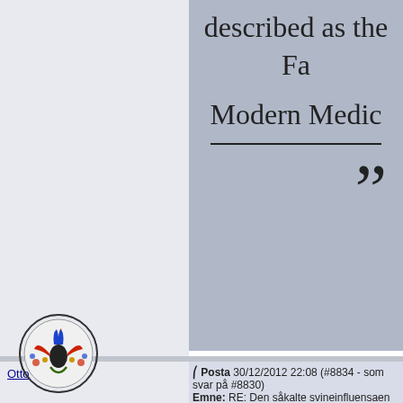[Figure (photo): Partial image of a book or sign with large serif text reading 'described as the Fa...' and 'Modern Medic...' with a horizontal divider line and large closing quotation marks on a gray textured background]
(educate_not_to_take_medicine_william_osler.gif)
Vedlegg
------------------
educate_not_to_take_medicine_william_osler.gif (215KB - 719 nedl
Posta 30/12/2012 22:08 (#8834 - som svar på #8830)
Emne: RE: Den såkalte svineinfluensaen forårsaket av blant annet vaks
Otto
Under Attack, NVIC Helps Americans Stand Up & Speak Out, in y
[Figure (logo): Circular emblem/logo with decorative bird and floral motif in red, blue, green and black colors]